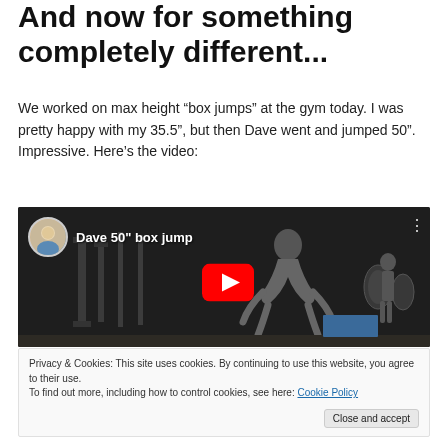And now for something completely different...
We worked on max height “box jumps” at the gym today. I was pretty happy with my 35.5”, but then Dave went and jumped 50”. Impressive. Here’s the video:
[Figure (screenshot): YouTube video embed showing 'Dave 50" box jump' with a play button overlay, depicting a person jumping high in a gym]
Privacy & Cookies: This site uses cookies. By continuing to use this website, you agree to their use.
To find out more, including how to control cookies, see here: Cookie Policy
Close and accept